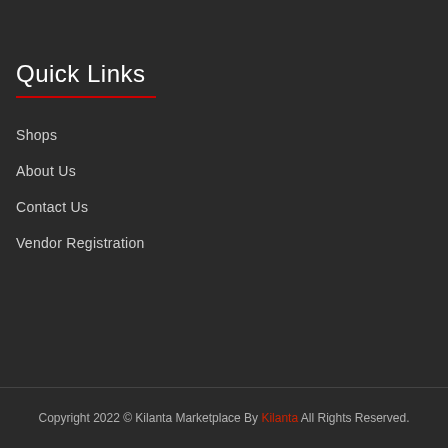Quick Links
Shops
About Us
Contact Us
Vendor Registration
Copyright 2022 © Kilanta Marketplace By Kilanta All Rights Reserved.